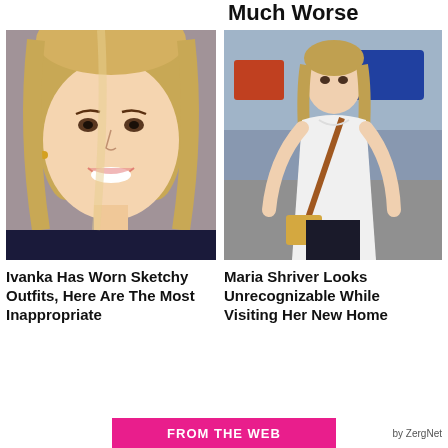Much Worse
[Figure (photo): Close-up portrait of a smiling blonde woman (Ivanka Trump)]
Ivanka Has Worn Sketchy Outfits, Here Are The Most Inappropriate
[Figure (photo): Woman in white t-shirt with crossbody bag walking outdoors (Maria Shriver)]
Maria Shriver Looks Unrecognizable While Visiting Her New Home
FROM THE WEB    by ZergNet